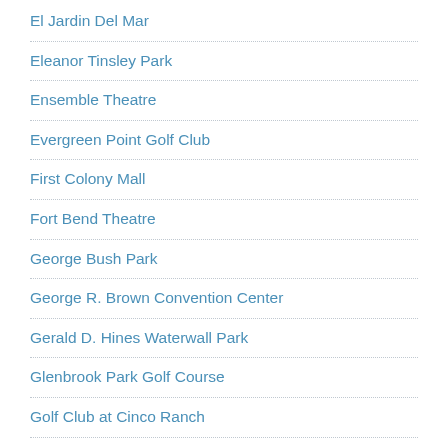El Jardin Del Mar
Eleanor Tinsley Park
Ensemble Theatre
Evergreen Point Golf Club
First Colony Mall
Fort Bend Theatre
George Bush Park
George R. Brown Convention Center
Gerald D. Hines Waterwall Park
Glenbrook Park Golf Course
Golf Club at Cinco Ranch
Golf Club of Houston